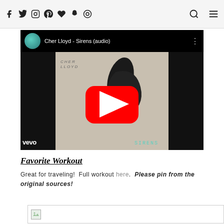Social media nav icons: Facebook, Twitter, Instagram, Pinterest, Heart, Snapchat, Target/circle icon, Search icon, Menu icon
[Figure (screenshot): YouTube video embed showing 'Cher Lloyd - Sirens (audio)' Vevo music video with a black YouTube play button overlay on album art, VEVO logo bottom left, SIRENS text bottom right in teal]
Favorite Workout
Great for traveling!  Full workout here.  Please pin from the original sources!
[Figure (photo): Broken/loading image placeholder at bottom of page]